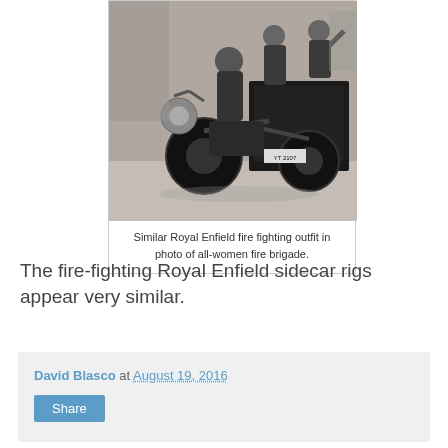[Figure (photo): Black and white historical photograph of women in dark uniforms on a Royal Enfield motorcycle with sidecar, used as fire-fighting equipment. Multiple women are visible, one riding the motorcycle and others on/in the sidecar. The sidecar appears to contain fire-fighting equipment. License plate reads YT 2107.]
Similar Royal Enfield fire fighting outfit in photo of all-women fire brigade.
The fire-fighting Royal Enfield sidecar rigs appear very similar.
David Blasco at August 19, 2016
Share